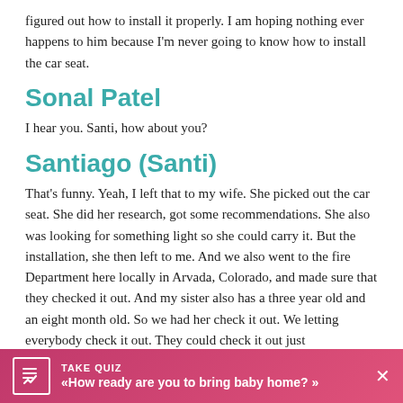figured out how to install it properly. I am hoping nothing ever happens to him because I'm never going to know how to install the car seat.
Sonal Patel
I hear you. Santi, how about you?
Santiago (Santi)
That's funny. Yeah, I left that to my wife. She picked out the car seat. She did her research, got some recommendations. She also was looking for something light so she could carry it. But the installation, she then left to me. And we also went to the fire Department here locally in Arvada, Colorado, and made sure that they checked it out. And my sister also has a three year old and an eight month old. So we had her check it out. We letting everybody check it out. They could check it out just
TAKE QUIZ «How ready are you to bring baby home? »